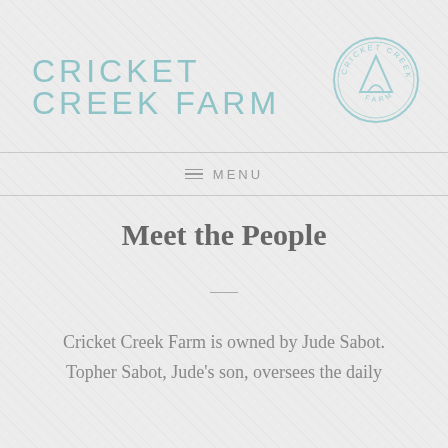CRICKET CREEK FARM
[Figure (logo): Cricket Creek Farm circular logo with mountain graphic in light blue/teal color]
MENU
Meet the People
Cricket Creek Farm is owned by Jude Sabot. Topher Sabot, Jude's son, oversees the daily